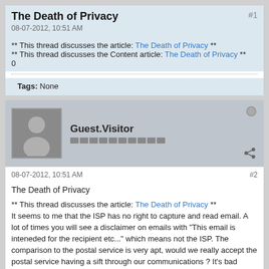The Death of Privacy
08-07-2012, 10:51 AM
** This thread discusses the article: The Death of Privacy **
** This thread discusses the Content article: The Death of Privacy **
0
Tags: None
Guest.Visitor
08-07-2012, 10:51 AM   #2
The Death of Privacy

** This thread discusses the article: The Death of Privacy **
It seems to me that the ISP has no right to capture and read email. A lot of times you will see a disclaimer on emails with "This email is inteneded for the recipient etc..." which means not the ISP. The comparison to the postal service is very apt, would we really accept the postal service having a sift through our communications ? It's bad enough that they give out my address never mind anything else. As for